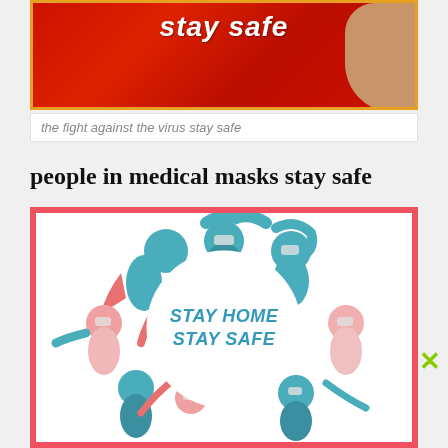[Figure (illustration): Partial red background image with white italic text at top showing 'stay safe' and a skin-tone arm/hand visible on the right, bordered with orange frame]
the fight against the virus stay safe
people in medical masks stay safe
[Figure (illustration): Illustration of multiple people wearing medical masks arranged in a circle around a central white circle. The people figures are rendered in teal/blue and pink/coral colors. The central white circle contains the text 'STAY HOME STAY SAFE' in teal italic bold font. The image is bordered with a thick pink/red frame.]